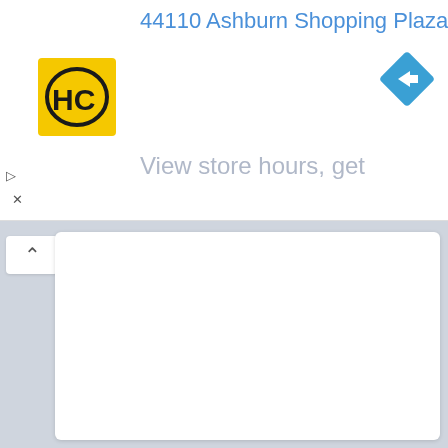44110 Ashburn Shopping Plaza 1.
[Figure (logo): HC logo — yellow square with black HC letters]
[Figure (other): Blue diamond navigation/directions icon with white right-arrow]
View store hours, get
Tomo Sushi ~0.1 miles
Click here to see a map of all
Restaurants near 5535-61 Sean Cir
data source
Fast Food near 5535-61 Sean Cir
Ten fast food places near 5535-61 Sean Cir are displayed. Click the button below for